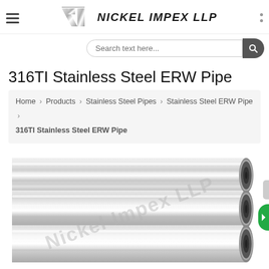Nickel Impex LLP — website header with logo, hamburger menu, dots menu
Search text here…
316TI Stainless Steel ERW Pipe
Home › Products › Stainless Steel Pipes › Stainless Steel ERW Pipe › 316TI Stainless Steel ERW Pipe
[Figure (photo): Stainless steel ERW pipes bundled together, shown horizontally with circular cross-sections visible on the right end, watermarked with 'Nickel Impex LLP']